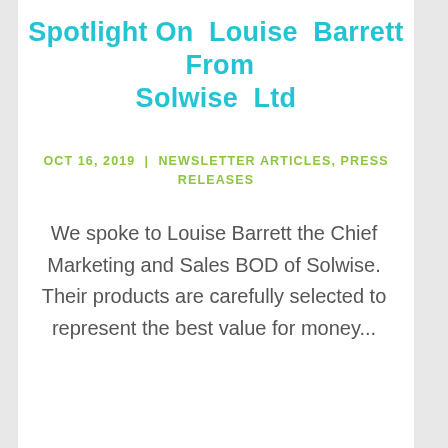Spotlight On Louise Barrett From Solwise Ltd
OCT 16, 2019 | NEWSLETTER ARTICLES, PRESS RELEASES
We spoke to Louise Barrett the Chief Marketing and Sales BOD of Solwise. Their products are carefully selected to represent the best value for money...
[Figure (photo): Blurred photograph showing colorful products or merchandise in warm orange and yellow tones]
English